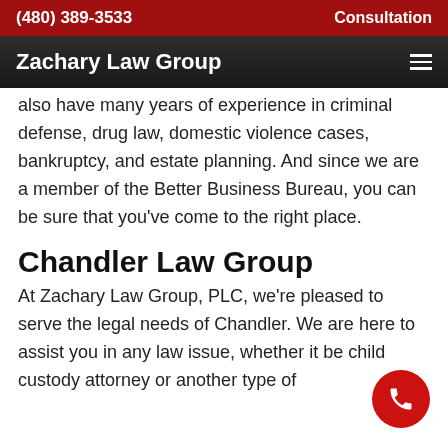(480) 389-3533   Consultation
Zachary Law Group
also have many years of experience in criminal defense, drug law, domestic violence cases, bankruptcy, and estate planning. And since we are a member of the Better Business Bureau, you can be sure that you've come to the right place.
Chandler Law Group
At Zachary Law Group, PLC, we're pleased to serve the legal needs of Chandler. We are here to assist you in any law issue, whether it be child custody attorney or another type of